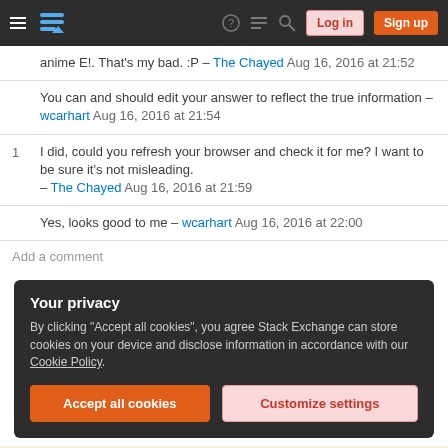Stack Exchange — Log in | Sign up
anime E!. That's my bad. :P – The Chayed Aug 16, 2016 at 21:52
You can and should edit your answer to reflect the true information – wcarhart Aug 16, 2016 at 21:54
1  I did, could you refresh your browser and check it for me? I want to be sure it's not misleading. – The Chayed Aug 16, 2016 at 21:59
Yes, looks good to me – wcarhart Aug 16, 2016 at 22:00
Add a comment
Your privacy
By clicking "Accept all cookies", you agree Stack Exchange can store cookies on your device and disclose information in accordance with our Cookie Policy.
Accept all cookies
Customize settings